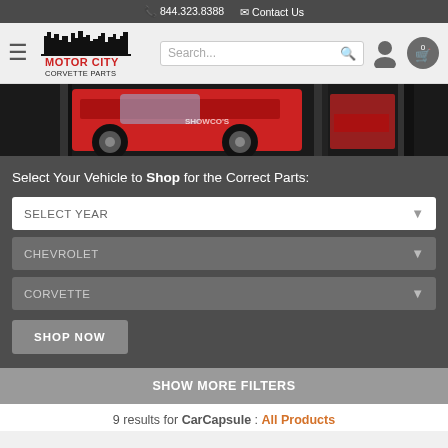📞 844.323.8388  ✉ Contact Us
[Figure (logo): Motor City Corvette Parts logo with city skyline silhouette in black, 'MOTOR CITY' in red bold text, 'CORVETTE PARTS' in black below]
[Figure (photo): Red Corvette car displayed in what appears to be a showroom or display case, multiple panel view]
Select Your Vehicle to Shop for the Correct Parts:
SELECT YEAR
CHEVROLET
CORVETTE
SHOP NOW
SHOW MORE FILTERS
9 results for CarCapsule : All Products